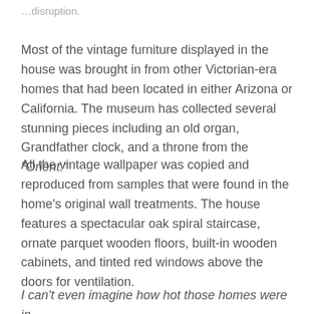…disruption.
Most of the vintage furniture displayed in the house was brought in from other Victorian-era homes that had been located in either Arizona or California. The museum has collected several stunning pieces including an old organ, Grandfather clock, and a throne from the "Orient."
All the vintage wallpaper was copied and reproduced from samples that were found in the home's original wall treatments. The house features a spectacular oak spiral staircase, ornate parquet wooden floors, built-in wooden cabinets, and tinted red windows above the doors for ventilation.
I can't even imagine how hot those homes were in